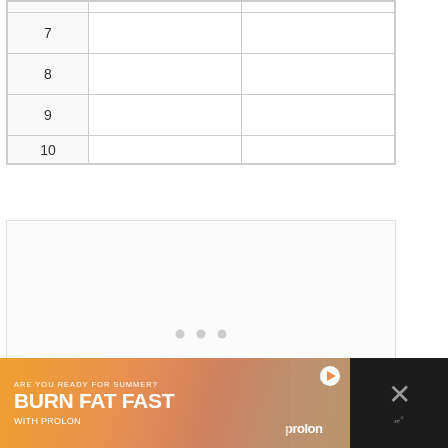| 7 |  |  |
| 8 |  |  |
| 9 |  |  |
| 10 |  |  |
[Figure (other): Empty content loading area with three gray dots centered, indicating loading state]
[Figure (other): Advertisement banner: ARE YOU READY FOR SUMMER? BURN FAT FAST WITH PROLON - featuring a woman with sunglasses against an orange/warm background, with ProLon logo and close button]